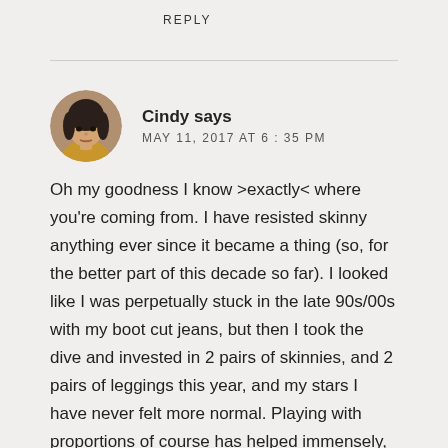REPLY
[Figure (photo): Circular avatar photo of a young woman with dark hair and a yellow top]
Cindy says
MAY 11, 2017 AT 6:35 PM
Oh my goodness I know >exactly< where you're coming from. I have resisted skinny anything ever since it became a thing (so, for the better part of this decade so far). I looked like I was perpetually stuck in the late 90s/00s with my boot cut jeans, but then I took the dive and invested in 2 pairs of skinnies, and 2 pairs of leggings this year, and my stars I have never felt more normal. Playing with proportions of course has helped immensely, but I have now embraced the skinnies on bottom and I am not looking back! Such a small step, but this has